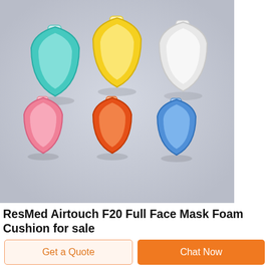[Figure (photo): Six colorful CPAP mask foam cushions displayed on a light gray background. Top row: teal/green, yellow, and white/clear cushions (larger). Bottom row: pink, orange/red, and blue cushions (smaller). Each cushion has a triangular frame shape with a flexible silicone rim and a small connector tab at top.]
ResMed Airtouch F20 Full Face Mask Foam Cushion for sale
ResMed Airtouch F20 Full Face Mask Foam Cushion, 4.7 out...
Get a Quote
Chat Now